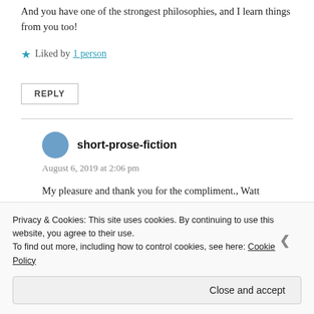And you have one of the strongest philosophies, and I learn things from you too!
Liked by 1 person
REPLY
short-prose-fiction
August 6, 2019 at 2:06 pm
My pleasure and thank you for the compliment., Watt
“Writing is subjective, even for the one who writes it)”
Privacy & Cookies: This site uses cookies. By continuing to use this website, you agree to their use. To find out more, including how to control cookies, see here: Cookie Policy
Close and accept